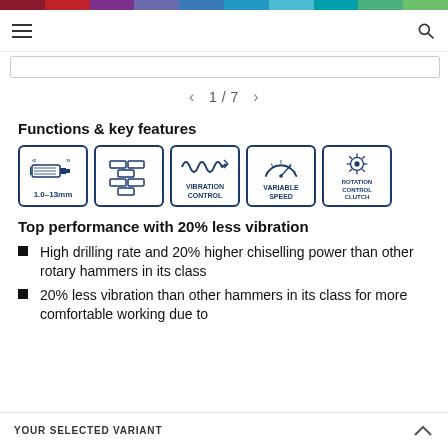Color navigation bar with hamburger menu and search icon
1 / 7
Functions & key features
[Figure (infographic): Five feature icons in bordered boxes: 1.0-13mm chuck range icon, masonry/brick icon, Vibration Control icon, Variable Speed icon, Rotation Control Clutch icon]
Top performance with 20% less vibration
High drilling rate and 20% higher chiselling power than other rotary hammers in its class
20% less vibration than other hammers in its class for more comfortable working due to
YOUR SELECTED VARIANT